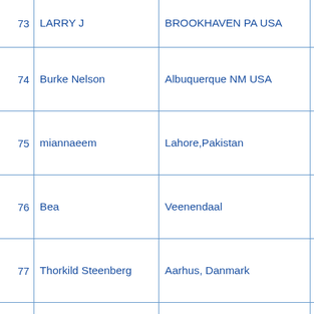| # | Name | Location | Date |  |
| --- | --- | --- | --- | --- |
| 73 | LARRY J | BROOKHAVEN PA USA | 31-2009 |  |
| 74 | Burke Nelson | Albuquerque NM USA | Aug-15-2022 |  |
| 75 | miannaeem | Lahore,Pakistan | Dec-18-2010 |  |
| 76 | Bea | Veenendaal | Aug-3-2016 |  |
| 77 | Thorkild Steenberg | Aarhus, Danmark | May-23-2007 |  |
| 78 | Katrina | El Paso, Texes, USA | Jul-2-2004 |  |
| 79 |  |  | Mar-1- |  |